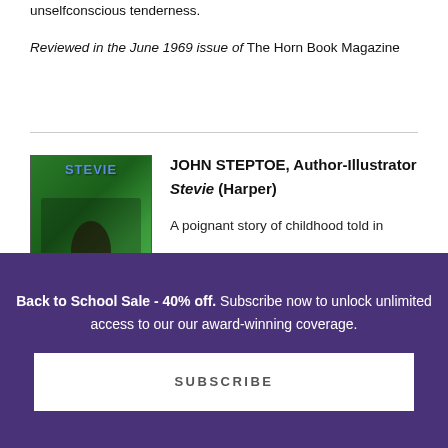unselfconscious tenderness.
Reviewed in the June 1969 issue of The Horn Book Magazine
JOHN STEPTOE, Author-Illustrator
Stevie (Harper)

A poignant story of childhood told in
[Figure (illustration): Book cover of Stevie by John Steptoe, featuring the title in blue letters at the top and a green-toned illustration of a figure below]
Back to School Sale - 40% off. Subscribe now to unlock unlimited access to our our award-winning coverage.
SUBSCRIBE